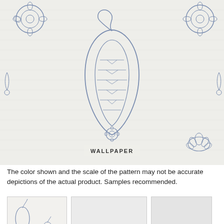[Figure (photo): Wallpaper product image showing a white/cream background with blue indigo paisley and floral motifs arranged in a repeating pattern. Large paisley teardrop shape in center, floral medallions on upper corners, smaller motifs scattered throughout. Label 'WALLPAPER' overlaid at bottom center.]
The color shown and the scale of the pattern may not be accurate depictions of the actual product. Samples recommended.
[Figure (photo): Three thumbnail images of the wallpaper: first showing a close-up of the blue paisley pattern on white, second a very light/washed out version, third showing a nearly plain light grey swatch.]
WINFIELD THYBONY KASHMIRI INDIGO WALLPAPER
$83.99 Price Per 5.5 Yard Single Roll